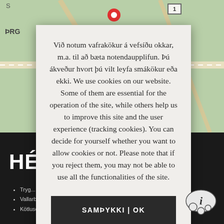[Figure (screenshot): Background showing a Google Maps view with road markings, green map tiles, a red location pin, and a road number badge showing '1'. Text 'S' and 'ÞRG' visible.]
Við notum vafrakökur á vefsíðu okkar, m.a. til að bæta notendaupplifun. Þú ákveður hvort þú vilt leyfa smákökur eða ekki. We use cookies on our website. Some of them are essential for the operation of the site, while others help us to improve this site and the user experience (tracking cookies). You can decide for yourself whether you want to allow cookies or not. Please note that if you reject them, you may not be able to use all the functionalities of the site.
SAMÞYKKI | OK
Nánar | More information
HÉR
Tryg...
Vallarbraut 18 | 800 Hvolsvöllur | ...
Kötlusetur Víkurbraut 28 | 870 Vík | s. 560 2032